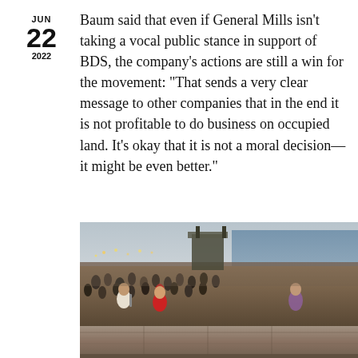JUN 22 2022
Baum said that even if General Mills isn't taking a vocal public stance in support of BDS, the company's actions are still a win for the movement: “That sends a very clear message to other companies that in the end it is not profitable to do business on occupied land. It’s okay that it is not a moral decision—it might be even better.”
[Figure (photo): A crowded beach scene viewed from an elevated position, with many people sitting and standing on the beach and a watchtower or stage structure visible in the background. The ocean is visible to the right. In the foreground, several people sit on a concrete or wooden wall looking out at the crowd.]